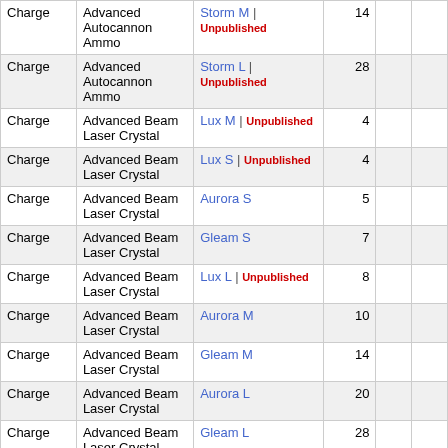|  |  |  |  |  |  |
| --- | --- | --- | --- | --- | --- |
| Charge | Advanced Autocannon Ammo | Storm M | Unpublished | 14 |  |  |
| Charge | Advanced Autocannon Ammo | Storm L | Unpublished | 28 |  |  |
| Charge | Advanced Beam Laser Crystal | Lux M | Unpublished | 4 |  |  |
| Charge | Advanced Beam Laser Crystal | Lux S | Unpublished | 4 |  |  |
| Charge | Advanced Beam Laser Crystal | Aurora S | 5 |  |  |
| Charge | Advanced Beam Laser Crystal | Gleam S | 7 |  |  |
| Charge | Advanced Beam Laser Crystal | Lux L | Unpublished | 8 |  |  |
| Charge | Advanced Beam Laser Crystal | Aurora M | 10 |  |  |
| Charge | Advanced Beam Laser Crystal | Gleam M | 14 |  |  |
| Charge | Advanced Beam Laser Crystal | Aurora L | 20 |  |  |
| Charge | Advanced Beam Laser Crystal | Gleam L | 28 |  |  |
| Charge | Advanced Beam Laser Crystal | Aurora XL | 40 |  |  |
| Charge | Advanced Beam Laser Crystal | Gleam XL | 56 |  |  |
| Charge | Advanced Blaster Charge | Null L | 0 |  |  |
| Charge | Advanced Blaster Charge | Null M | 0 |  |  |